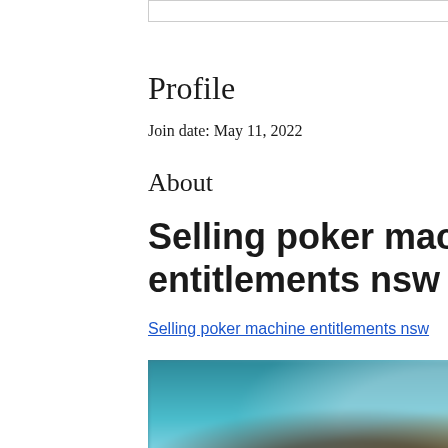Profile
Join date: May 11, 2022
About
Selling poker machine entitlements nsw
Selling poker machine entitlements nsw
[Figure (photo): Blurred image of people, possibly playing cards or at a gaming table, with teal/green/yellow color tones]